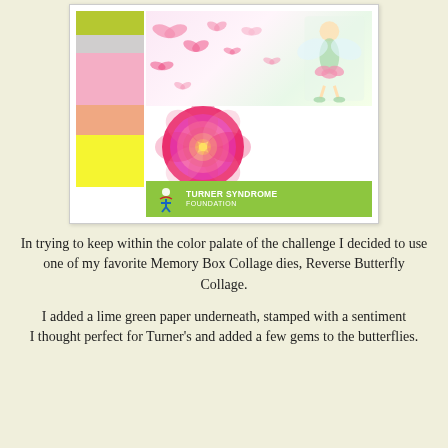[Figure (illustration): Craft challenge inspiration board showing color swatches (lime green, gray, pink, peach/salmon, yellow) on the left side and decorative images on the right (pink butterflies, fairy illustration, pink rose photo), with a Turner Syndrome Foundation logo banner at the bottom right.]
In trying to keep within the color palate of the challenge I decided to use one of my favorite Memory Box Collage dies, Reverse Butterfly Collage.
I added a lime green paper underneath, stamped with a sentiment I thought perfect for Turner's and added a few gems to the butterflies.